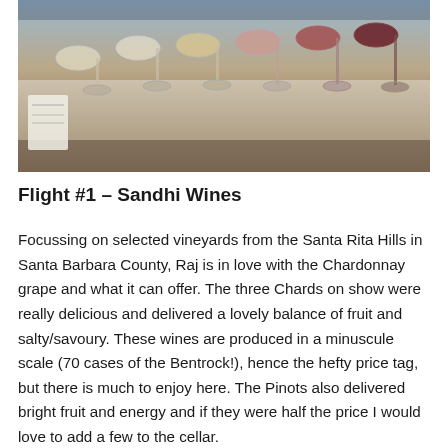[Figure (photo): Photograph of multiple wine glasses arranged on a table, showing a range of wines from white to red, viewed from above at a slight angle.]
Flight #1 – Sandhi Wines
Focussing on selected vineyards from the Santa Rita Hills in Santa Barbara County, Raj is in love with the Chardonnay grape and what it can offer. The three Chards on show were really delicious and delivered a lovely balance of fruit and salty/savoury. These wines are produced in a minuscule scale (70 cases of the Bentrock!), hence the hefty price tag, but there is much to enjoy here. The Pinots also delivered bright fruit and energy and if they were half the price I would love to add a few to the cellar.